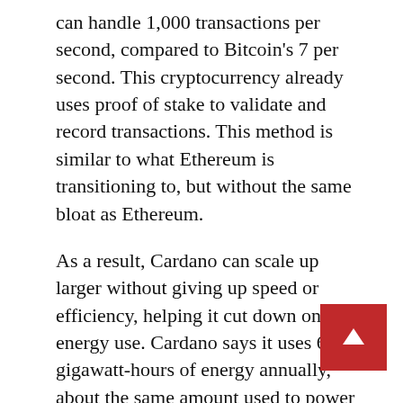can handle 1,000 transactions per second, compared to Bitcoin's 7 per second. This cryptocurrency already uses proof of stake to validate and record transactions. This method is similar to what Ethereum is transitioning to, but without the same bloat as Ethereum.
As a result, Cardano can scale up larger without giving up speed or efficiency, helping it cut down on energy use. Cardano says it uses 6 gigawatt-hours of energy annually, about the same amount used to power 600 U.S. homes per year.
This article represents the opinion of the writer, who may disagree with the “official” recommendation position of a Motley Fool premium advisory service. We’re motley! Questioning an investing thesis – even one of our